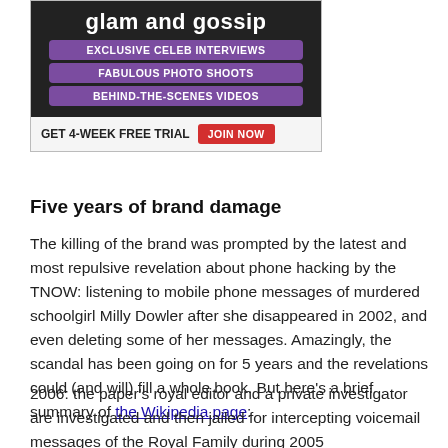[Figure (advertisement): Magazine advertisement with dark background showing a blonde woman in a black dress. Text: 'glam and gossip', 'EXCLUSIVE CELEB INTERVIEWS', 'FABULOUS PHOTO SHOOTS', 'BEHIND-THE-SCENES VIDEOS', 'GET 4-WEEK FREE TRIAL JOIN NOW']
Five years of brand damage
The killing of the brand was prompted by the latest and most repulsive revelation about phone hacking by the TNOW: listening to mobile phone messages of murdered schoolgirl Milly Dowler after she disappeared in 2002, and even deleting some of her messages. Amazingly, the scandal has been going on for 5 years and the revelations could (and will) fill a whole book. But here's a brief summary of the Wikipedia page:
2006: the paper's royal editor and a private investigator are investigated and then jailed for intercepting voicemail messages of the Royal Family during 2005